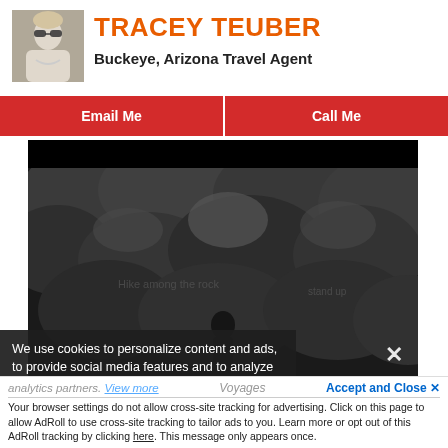[Figure (photo): Profile photo of Tracey Teuber, a woman with sunglasses]
TRACEY TEUBER
Buckeye, Arizona Travel Agent
Email Me
Call Me
[Figure (photo): Dark video still showing rocky terrain with a figure, a close/X button in upper right]
We use cookies to personalize content and ads, to provide social media features and to analyze our traffic. We also share information about your use of our site with our social media, advertising and analytics partners. View more
Voyages
Accept and Close ✕
Your browser settings do not allow cross-site tracking for advertising. Click on this page to allow AdRoll to use cross-site tracking to tailor ads to you. Learn more or opt out of this AdRoll tracking by clicking here. This message only appears once.